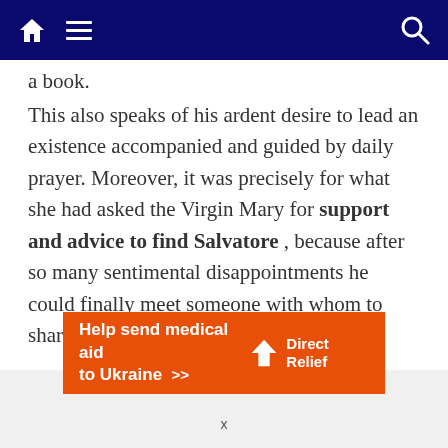Navigation bar with home, menu, and search icons
a book.
This also speaks of his ardent desire to lead an existence accompanied and guided by daily prayer. Moreover, it was precisely for what she had asked the Virgin Mary for support and advice to find Salvatore , because after so many sentimental disappointments he could finally meet someone with whom to share and continue the journey of faith.
[Figure (other): Advertisement banner: Help send medical aid to Ukraine >> Direct Relief logo]
x